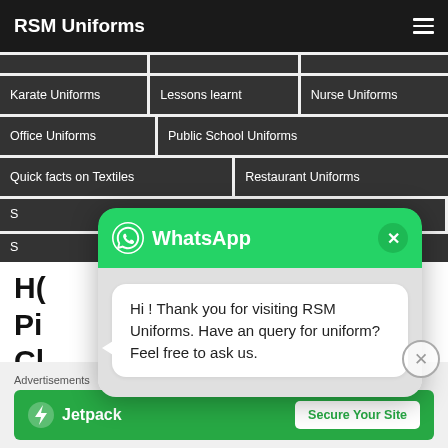RSM Uniforms
Karate Uniforms
Lessons learnt
Nurse Uniforms
Office Uniforms
Public School Uniforms
Quick facts on Textiles
Restaurant Uniforms
[Figure (screenshot): WhatsApp chat popup with message: Hi ! Thank you for visiting RSM Uniforms. Have an query for uniform? Feel free to ask us.]
Hi ! Thank you for visiting RSM Uniforms. Have an query for uniform? Feel free to ask us.
Advertisements
[Figure (other): Jetpack advertisement banner with 'Secure Your Site' button]